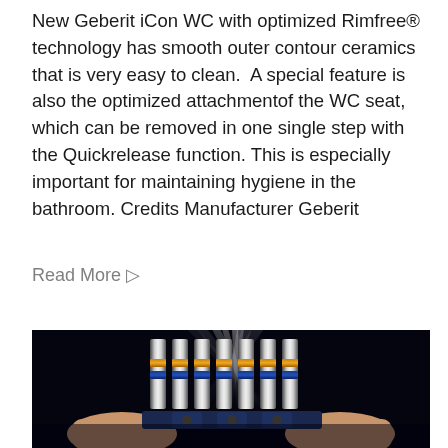New Geberit iCon WC with optimized Rimfree® technology has smooth outer contour ceramics that is very easy to clean.  A special feature is also the optimized attachmentof the WC seat, which can be removed in one single step with the Quickrelease function. This is especially important for maintaining hygiene in the bathroom. Credits Manufacturer Geberit
Read More ▷
[Figure (photo): Hands holding multiple metallic pipe connectors/fittings with blue and gold/bronze colored rings, arranged side by side against a dark background with dramatic lighting beams.]